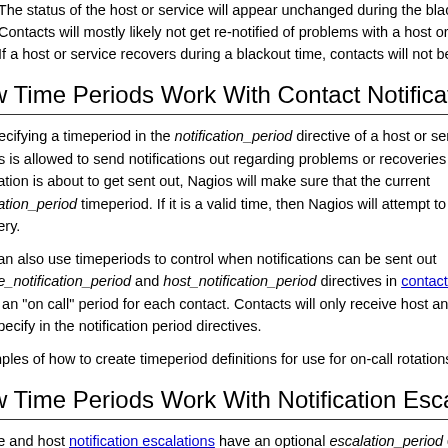. The status of the host or service will appear unchanged during the blacko...
. Contacts will mostly likely not get re-notified of problems with a host or se...
. If a host or service recovers during a blackout time, contacts will not be in...
w Time Periods Work With Contact Notifications
pecifying a timeperiod in the notification_period directive of a host or serv... Nagios is allowed to send notifications out regarding problems or recoveries fo... cation is about to get sent out, Nagios will make sure that the current... cation_period timeperiod. If it is a valid time, then Nagios will attempt to r... very.
can also use timeperiods to control when notifications can be sent out... ce_notification_period and host_notification_period directives in contact d... e an "on call" period for each contact. Contacts will only receive host and ... specify in the notification period directives.
mples of how to create timeperiod definitions for use for on-call rotations car...
w Time Periods Work With Notification Escalations
ce and host notification escalations have an optional escalation_period d... period when the escalation is valid and can be used. If you do not use t... ation definition, the escalation is considered valid at all times. If... lation_period directive, Nagios will only use the escalation definition during... ition.